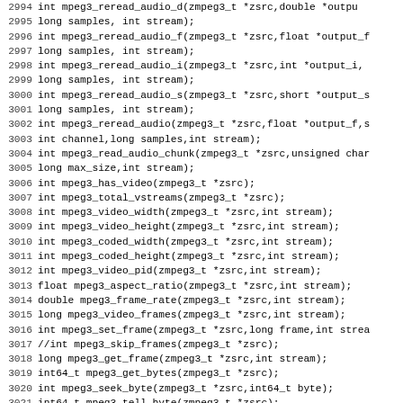[Figure (other): Source code listing showing C function declarations for an MPEG3 library (zmpeg3), lines 2994-3026, with line numbers on the left and function signatures on the right in monospace font.]